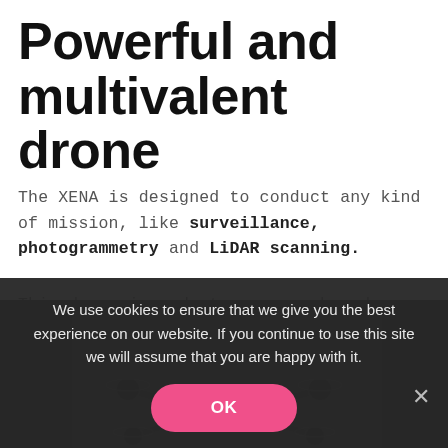Powerful and multivalent drone
The XENA is designed to conduct any kind of mission, like surveillance, photogrammetry and LiDAR scanning.
This drone is made to carry a broad range of sensors thanks to its universality (digital cameras, thermographic cameras, LIDARs, multispectral cameras, etc.).
[Figure (photo): Dark background image of a drone (quadcopter) seen from above/front, partially visible at the bottom of the page behind a cookie consent banner.]
We use cookies to ensure that we give you the best experience on our website. If you continue to use this site we will assume that you are happy with it.